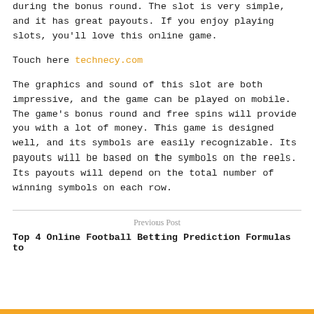during the bonus round. The slot is very simple, and it has great payouts. If you enjoy playing slots, you'll love this online game.
Touch here technecy.com
The graphics and sound of this slot are both impressive, and the game can be played on mobile. The game's bonus round and free spins will provide you with a lot of money. This game is designed well, and its symbols are easily recognizable. Its payouts will be based on the symbols on the reels. Its payouts will depend on the total number of winning symbols on each row.
Previous Post
Top 4 Online Football Betting Prediction Formulas to